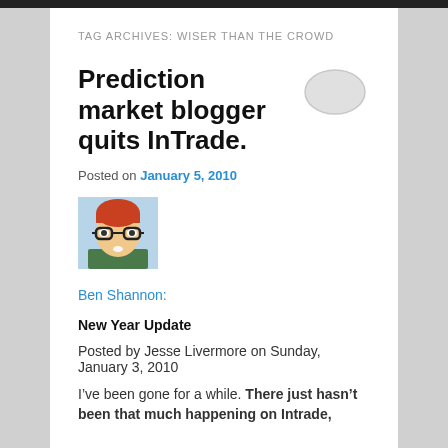TAG ARCHIVES: WISER THAN THE CROWD
Prediction market blogger quits InTrade.
Posted on January 5, 2010
[Figure (illustration): Avatar illustration of a person with red hair and glasses]
Ben Shannon:
New Year Update
Posted by Jesse Livermore on Sunday, January 3, 2010
I&#8217;ve been gone for a while. There just hasn&#8217;t been that much happening on Intrade,